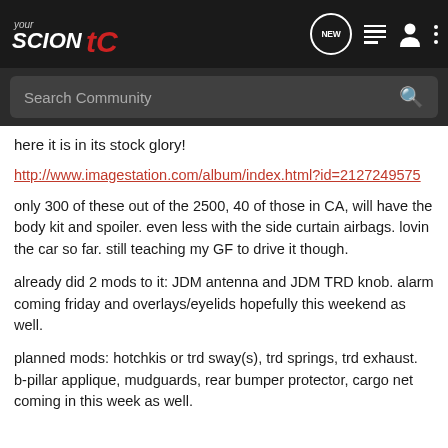YourScionTC - NEW - menu - profile - more
Search Community
here it is in its stock glory!
http://www.imagestation.com/album/index.html?id=2127249575
only 300 of these out of the 2500, 40 of those in CA, will have the body kit and spoiler. even less with the side curtain airbags. lovin the car so far. still teaching my GF to drive it though.
already did 2 mods to it: JDM antenna and JDM TRD knob. alarm coming friday and overlays/eyelids hopefully this weekend as well.
planned mods: hotchkis or trd sway(s), trd springs, trd exhaust. b-pillar applique, mudguards, rear bumper protector, cargo net coming in this week as well.